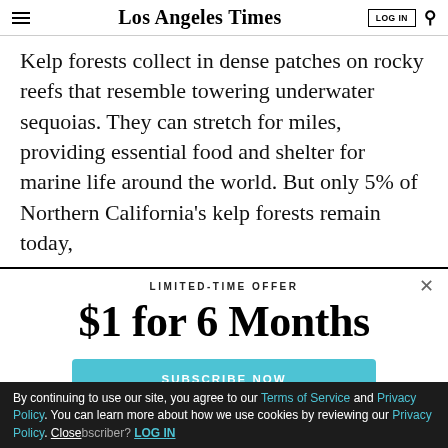Los Angeles Times | LOG IN | Search
Kelp forests collect in dense patches on rocky reefs that resemble towering underwater sequoias. They can stretch for miles, providing essential food and shelter for marine life around the world. But only 5% of Northern California’s kelp forests remain today,
LIMITED-TIME OFFER
$1 for 6 Months
SUBSCRIBE NOW
By continuing to use our site, you agree to our Terms of Service and Privacy Policy. You can learn more about how we use cookies by reviewing our Privacy Policy. Close Already a subscriber? LOG IN